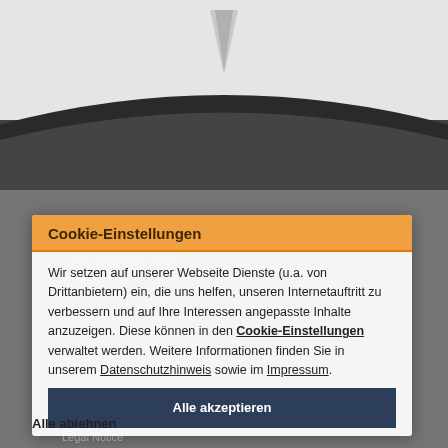[Figure (screenshot): Top portion showing wiper blades graphic with dark curved wiper against light background, transitioning to dark grey at bottom]
Franz Brinkmann GmbH
Drostenstr. 16
D-59469 Ense-Höingen
Tel.: 02938 / 97-0
Fax: 02938 / 97-75
Mail:   info@brista.de
Cookie Preferences
Privacy Policy
Legal Notice
desktop v
Cookie-Einstellungen
Wir setzen auf unserer Webseite Dienste (u.a. von Drittanbietern) ein, die uns helfen, unseren Internetauftritt zu verbessern und auf Ihre Interessen angepasste Inhalte anzuzeigen. Diese können in den Cookie-Einstellungen verwaltet werden. Weitere Informationen finden Sie in unserem Datenschutzhinweis sowie im Impressum.
Alle akzeptieren
Alle ablehnen